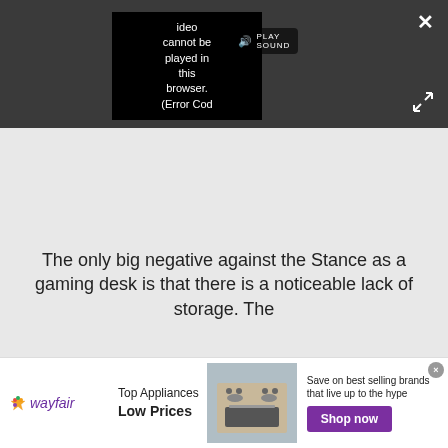[Figure (screenshot): Video player in dark gray bar showing error message: 'Video cannot be played in this browser. (Error Cod' with PLAY SOUND button, close X button, and expand arrows icon]
The only big negative against the Stance as a gaming desk is that there is a noticeable lack of storage. The
[Figure (infographic): Wayfair advertisement banner: logo with star, 'Top Appliances Low Prices', image of stove/range appliance, 'Save on best selling brands that live up to the hype', purple 'Shop now' button]